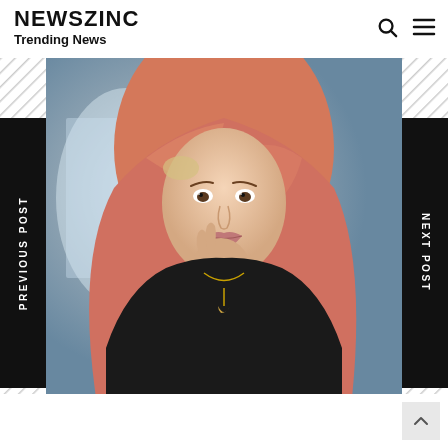NewszInc Trending News
[Figure (photo): A young woman wearing an orange/salmon-colored hijab and black top, with a necklace, posed against a blurred indoor background. Navigation bars on left (PREVIOUS POST) and right (NEXT POST) flank the photo.]
PREVIOUS POST
NEXT POST